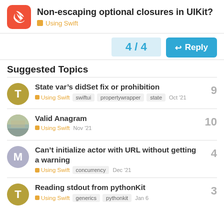Non-escaping optional closures in UIKit? — Using Swift
4 / 4
Reply
Suggested Topics
State var's didSet fix or prohibition — Using Swift, swiftui, propertywrapper, state — Oct '21 — 9 replies
Valid Anagram — Using Swift — Nov '21 — 10 replies
Can't initialize actor with URL without getting a warning — Using Swift, concurrency — Dec '21 — 4 replies
Reading stdout from pythonKit — Using Swift, generics, pythonkit — Jan 6 — 3 replies